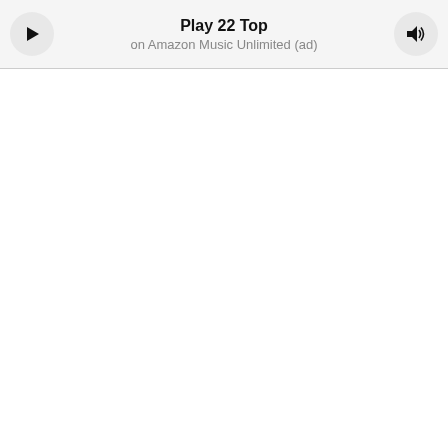[Figure (screenshot): Amazon Music Unlimited audio player widget. Contains a play button (triangle icon) on the left, centered bold text 'Play 22 Top' with subtitle 'on Amazon Music Unlimited (ad)', and a volume/speaker icon button on the right. All on a light gray background bar.]